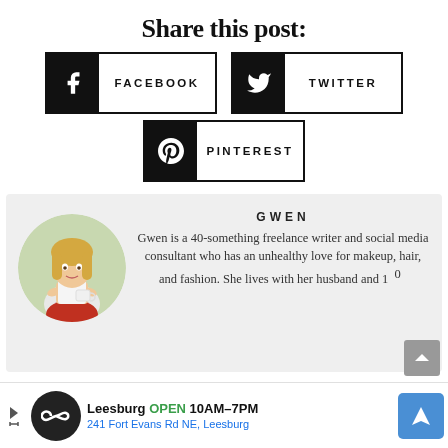Share this post:
FACEBOOK
TWITTER
PINTEREST
[Figure (photo): Circular photo of Gwen, a blonde woman in a white top and red skirt holding a white mug, with an outdoor background]
GWEN
Gwen is a 40-something freelance writer and social media consultant who has an unhealthy love for makeup, hair, and fashion. She lives with her husband and 10...
[Figure (infographic): Advertisement banner: Leesburg OPEN 10AM-7PM, 241 Fort Evans Rd NE, Leesburg with Infinity logo and Google Maps navigation icon]